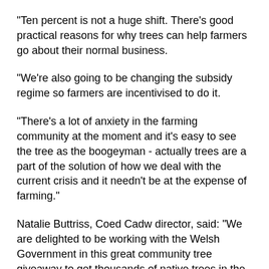"Ten percent is not a huge shift. There's good practical reasons for why trees can help farmers go about their normal business.
"We're also going to be changing the subsidy regime so farmers are incentivised to do it.
"There's a lot of anxiety in the farming community at the moment and it's easy to see the tree as the boogeyman - actually trees are a part of the solution of how we deal with the current crisis and it needn't be at the expense of farming."
Natalie Buttriss, Coed Cadw director, said: "We are delighted to be working with the Welsh Government in this great community tree giveaway to get thousands of native trees in the ground.
"We want people from all backgrounds to be part of planting the national forest for Wales."